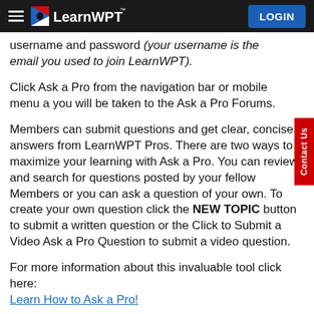LearnWPT — LOGIN
username and password (your username is the email you used to join LearnWPT).
Click Ask a Pro from the navigation bar or mobile menu and you will be taken to the Ask a Pro Forums.
Members can submit questions and get clear, concise, answers from LearnWPT Pros. There are two ways to maximize your learning with Ask a Pro. You can review and search for questions posted by your fellow Members or you can ask a question of your own. To create your own question click the NEW TOPIC button to submit a written question or the Click to Submit a Video Ask a Pro Question to submit a video question.
For more information about this invaluable tool click here: Learn How to Ask a Pro!
*Please note that by using this feature, your question may be used in a future Strategy Episode, and you agree to let LearnWPT use your footage as described in our Terms of Service.